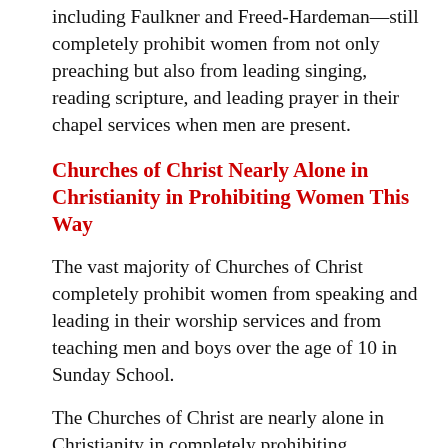including Faulkner and Freed-Hardeman—still completely prohibit women from not only preaching but also from leading singing, reading scripture, and leading prayer in their chapel services when men are present.
Churches of Christ Nearly Alone in Christianity in Prohibiting Women This Way
The vast majority of Churches of Christ completely prohibit women from speaking and leading in their worship services and from teaching men and boys over the age of 10 in Sunday School.
The Churches of Christ are nearly alone in Christianity in completely prohibiting